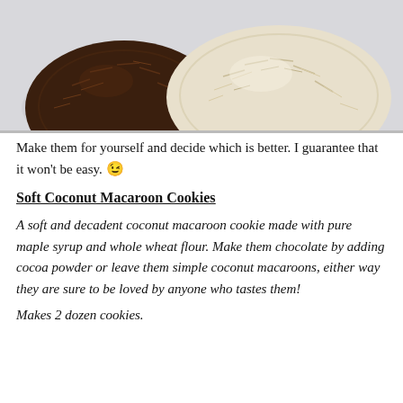[Figure (photo): Close-up photo of coconut macaroon cookies on a plate — one dark chocolate-coated ball on the left and one white coconut-covered ball on the right, on a light gray/white plate background.]
Make them for yourself and decide which is better. I guarantee that it won't be easy. 😉
Soft Coconut Macaroon Cookies
A soft and decadent coconut macaroon cookie made with pure maple syrup and whole wheat flour. Make them chocolate by adding cocoa powder or leave them simple coconut macaroons, either way they are sure to be loved by anyone who tastes them!
Makes 2 dozen cookies.